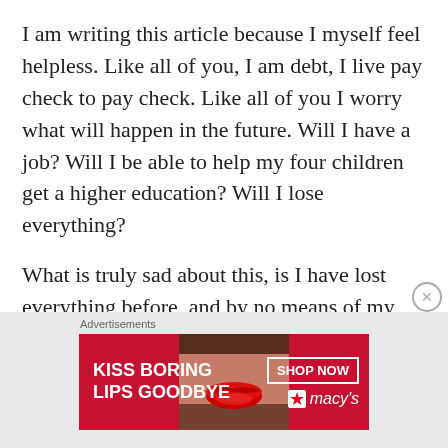I am writing this article because I myself feel helpless. Like all of you, I am debt, I live pay check to pay check. Like all of you I worry what will happen in the future. Will I have a job? Will I be able to help my four children get a higher education? Will I lose everything?
What is truly sad about this, is I have lost everything before, and by no means of my own I have seen God restore me. Yet I wonder if the house of cards we are all living in now begins to
[Figure (other): Macy's advertisement banner: 'KISS BORING LIPS GOODBYE' with a woman's face showing red lips, a 'SHOP NOW' button, and the Macy's star logo on a red background.]